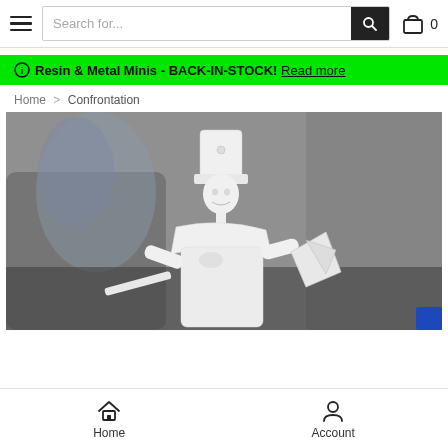Search for... [search bar] [cart] 0
Resin & Metal Minis - BACK-IN-STOCK! Read more
Home > Confrontation
[Figure (photo): White unpainted miniature figure of a soldier with a tall hat, holding a weapon and an axe-like object, photographed against a blurred grey background.]
Home   Account